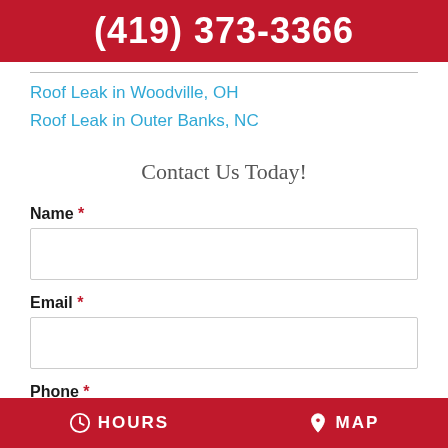(419) 373-3366
Roof Leak in Woodville, OH
Roof Leak in Outer Banks, NC
Contact Us Today!
Name *
Email *
Phone *
HOURS   MAP